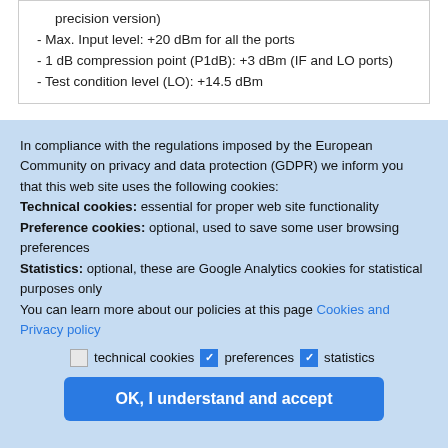precision version)
- Max. Input level: +20 dBm for all the ports
- 1 dB compression point (P1dB): +3 dBm (IF and LO ports)
- Test condition level (LO): +14.5 dBm
In compliance with the regulations imposed by the European Community on privacy and data protection (GDPR) we inform you that this web site uses the following cookies: Technical cookies: essential for proper web site functionality
Preference cookies: optional, used to save some user browsing preferences
Statistics: optional, these are Google Analytics cookies for statistical purposes only
You can learn more about our policies at this page Cookies and Privacy policy
technical cookies  preferences  statistics
OK, I understand and accept